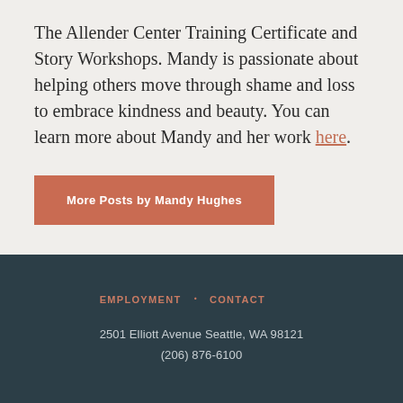The Allender Center Training Certificate and Story Workshops. Mandy is passionate about helping others move through shame and loss to embrace kindness and beauty. You can learn more about Mandy and her work here.
More Posts by Mandy Hughes
EMPLOYMENT · CONTACT
2501 Elliott Avenue Seattle, WA 98121
(206) 876-6100